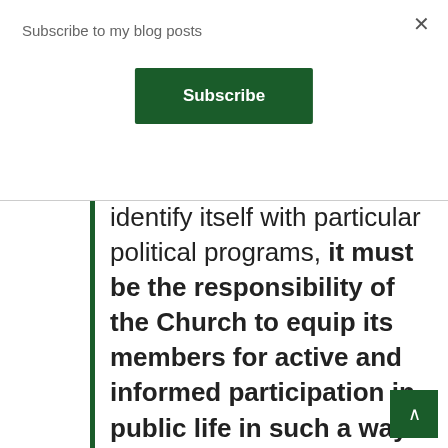Subscribe to my blog posts
Subscribe
identify itself with particular political programs, it must be the responsibility of the Church to equip its members for active and informed participation in public life in such a way that the Christian faith